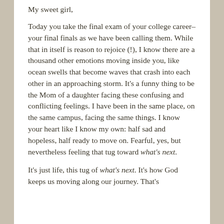My sweet girl,
Today you take the final exam of your college career–your final finals as we have been calling them. While that in itself is reason to rejoice (!), I know there are a thousand other emotions moving inside you, like ocean swells that become waves that crash into each other in an approaching storm. It's a funny thing to be the Mom of a daughter facing these confusing and conflicting feelings. I have been in the same place, on the same campus, facing the same things. I know your heart like I know my own: half sad and hopeless, half ready to move on. Fearful, yes, but nevertheless feeling that tug toward what's next.
It's just life, this tug of what's next. It's how God keeps us moving along our journey. That's